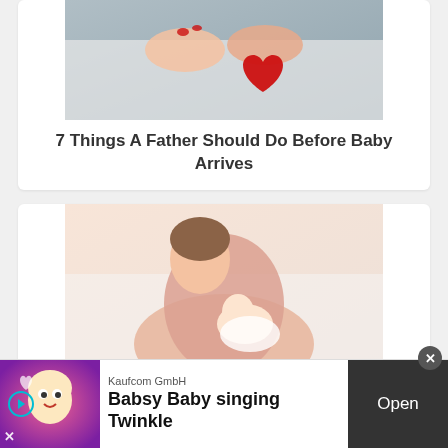[Figure (photo): Hands holding a red heart on a fur/white surface]
7 Things A Father Should Do Before Baby Arrives
[Figure (photo): Mother kissing a newborn baby while holding it]
How to Get Rid of Baby Hiccups
[Figure (photo): Woman in bed, partially visible]
[Figure (other): Advertisement: Kaufcom GmbH - Babsy Baby singing Twinkle, with Open button]